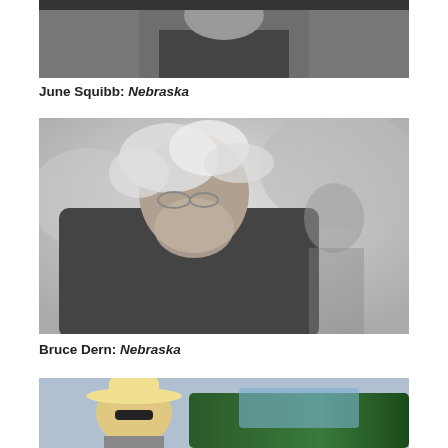[Figure (photo): Black and white photo (partial, top cropped) of June Squibb from the film Nebraska]
June Squibb: Nebraska
[Figure (photo): Black and white photo of Bruce Dern as an elderly man with wild white hair and glasses, with another man blurred in background, from the film Nebraska]
Bruce Dern: Nebraska
[Figure (photo): Color photo (partially visible) of a man in a white cowboy hat and sunglasses next to a green car, from another film]